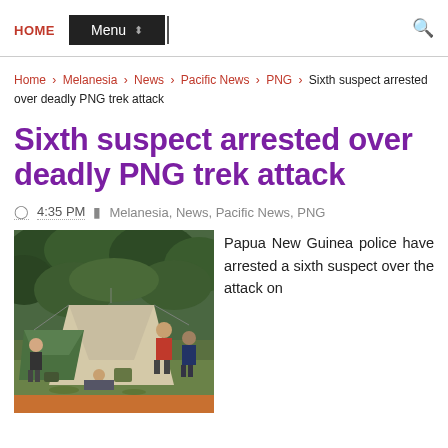HOME  Menu
Home > Melanesia > News > Pacific News > PNG > Sixth suspect arrested over deadly PNG trek attack
Sixth suspect arrested over deadly PNG trek attack
4:35 PM  Melanesia, News, Pacific News, PNG
[Figure (photo): Photo of a jungle campsite with tents and several people, some in outdoor gear and a red jacket, in a forested area with green vegetation]
Papua New Guinea police have arrested a sixth suspect over the attack on